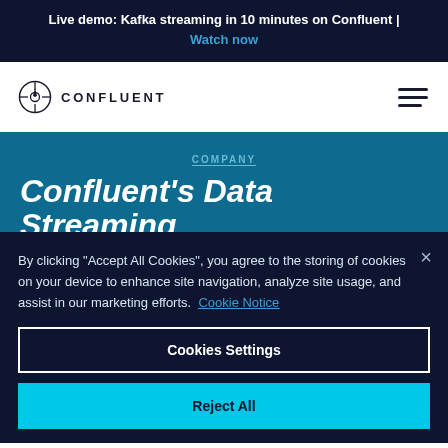Live demo: Kafka streaming in 10 minutes on Confluent | Watch now
[Figure (logo): Confluent logo with compass icon and CONFLUENT text]
COMPANY
Confluent's Data Streaming
By clicking "Accept All Cookies", you agree to the storing of cookies on your device to enhance site navigation, analyze site usage, and assist in our marketing efforts. Cookie Notice
Cookies Settings
Reject All